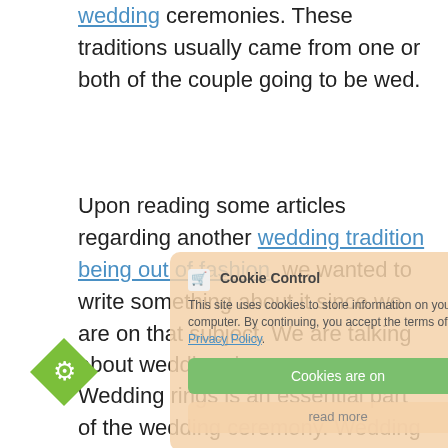wedding ceremonies. These traditions usually came from one or both of the couple going to be wed.
Upon reading some articles regarding another wedding tradition being out of fashion, we wanted to write something about it since we are on that subject. We are talking about wedding rings.
Wedding rings is an essential part of the wedding ceremony. Wedding rings can be made of gold, silver or platinum metal and indicates that the wearer is married. It is usually worn on the fourth finger of the left or right hand depending on local culture.
[Figure (other): Cookie Control popup overlay with cart icon, close button, privacy policy link, 'Cookies are on' green button, and 'read more' button. A green diamond-shaped gear/settings icon appears at bottom left.]